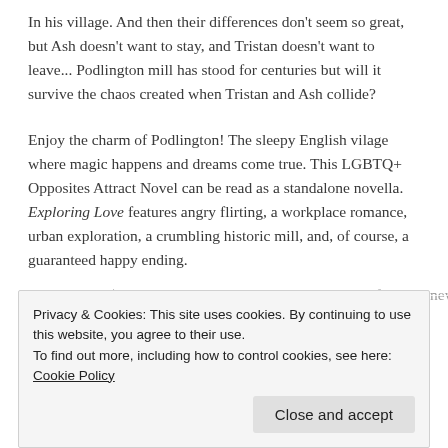In his village. And then their differences don't seem so great, but Ash doesn't want to stay, and Tristan doesn't want to leave... Podlington mill has stood for centuries but will it survive the chaos created when Tristan and Ash collide?
Enjoy the charm of Podlington! The sleepy English vilage where magic happens and dreams come true. This LGBTQ+ Opposites Attract Novel can be read as a standalone novella. Exploring Love features angry flirting, a workplace romance, urban exploration, a crumbling historic mill, and, of course, a guaranteed happy ending.
Only £2.99 / $3.49 — paired with KU Checkout all our featured new...
Privacy & Cookies: This site uses cookies. By continuing to use this website, you agree to their use.
To find out more, including how to control cookies, see here: Cookie Policy